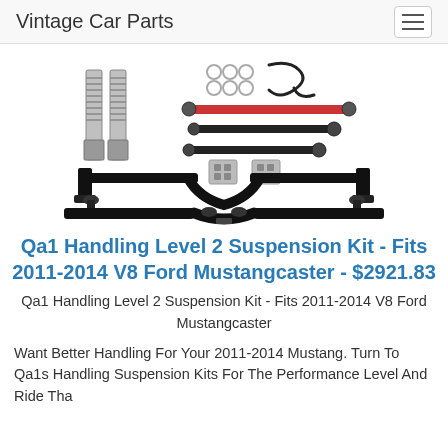Vintage Car Parts
[Figure (photo): Photo of a Qa1 Handling Level 2 Suspension Kit showing coilovers, sway bars, control arms, hardware and related suspension components laid out on a white background.]
Qa1 Handling Level 2 Suspension Kit - Fits 2011-2014 V8 Ford Mustangcaster - $2921.83
Qa1 Handling Level 2 Suspension Kit - Fits 2011-2014 V8 Ford Mustangcaster
Want Better Handling For Your 2011-2014 Mustang. Turn To Qa1s Handling Suspension Kits For The Performance Level And Ride Tha